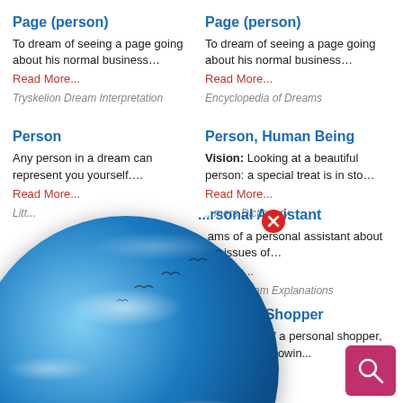Page (person)
To dream of seeing a page going about his normal business…
Read More...
Tryskelion Dream Interpretation
Page (person)
To dream of seeing a page going about his normal business…
Read More...
Encyclopedia of Dreams
Person
Any person in a dream can represent you yourself….
Read More...
Little...
Person, Human Being
Vision: Looking at a beautiful person: a special treat is in sto…
Read More...
...mers Dictionary
[Figure (logo): Dream Encyclopedia globe logo with blue Earth, clouds, birds, and 'Dream Encyclopedia' text]
Personal Assistant
Dreams of a personal assistant about your issues of…
Read More...
...ngest Dream Explanations
Personal Shopper
If you dream of a personal shopper, then you are allowing…
Read More...